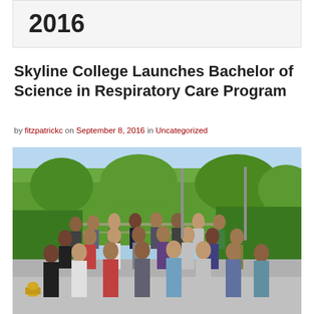2016
Skyline College Launches Bachelor of Science in Respiratory Care Program
by fitzpatrickc on September 8, 2016 in Uncategorized
[Figure (photo): Group photo of approximately 30 people, students and faculty, posed outdoors on steps with green hedges and bushes in the background, blue sky visible above. A yellow fire hydrant is visible in the lower left.]